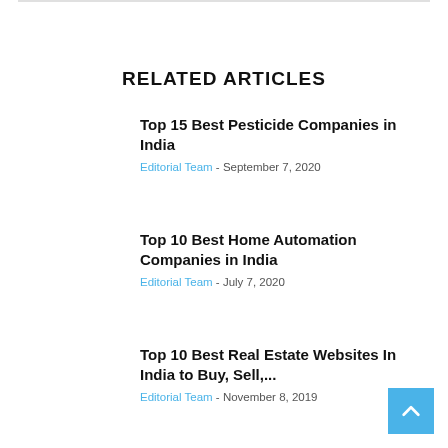RELATED ARTICLES
Top 15 Best Pesticide Companies in India
Editorial Team - September 7, 2020
Top 10 Best Home Automation Companies in India
Editorial Team - July 7, 2020
Top 10 Best Real Estate Websites In India to Buy, Sell,...
Editorial Team - November 8, 2019